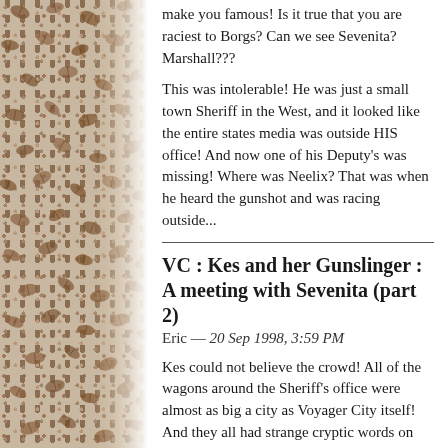make you famous! Is it true that you are raciest to Borgs? Can we see Sevenita? Marshall???
This was intolerable! He was just a small town Sheriff in the West, and it looked like the entire states media was outside HIS office! And now one of his Deputy's was missing! Where was Neelix? That was when he heard the gunshot and was racing outside...
VC : Kes and her Gunslinger : A meeting with Sevenita (part 2)
Eric — 20 Sep 1998, 3:59 PM
Kes could not believe the crowd! All of the wagons around the Sheriff's office were almost as big a city as Voyager City itself! And they all had strange cryptic words on them like : CNN, ABC, NBC, Fox, and UPN! And the people were milling about were all complete strangers to her. But wait, was that her brother standing there?